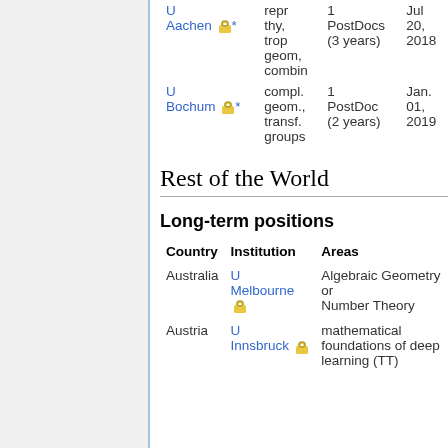| Institution | Areas |  | Date |
| --- | --- | --- | --- |
| U Aachen 🔒* | repr thy, trop geom, combin | 1 PostDocs (3 years) | Jul 20, 2018 |
| U Bochum 🔒* | compl. geom., transf. groups | 1 PostDoc (2 years) | Jan. 01, 2019 |
Rest of the World
Long-term positions
| Country | Institution | Areas |
| --- | --- | --- |
| Australia | U Melbourne 🔒 | Algebraic Geometry or Number Theory |
| Austria | U Innsbruck 🔒 | mathematical foundations of deep learning (TT) |